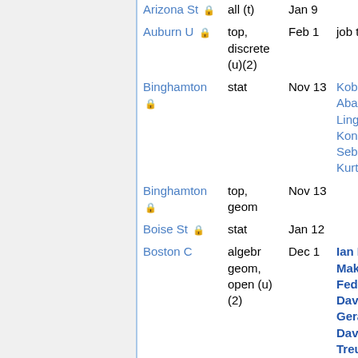| Institution | Type | Date | Candidates |
| --- | --- | --- | --- |
| Arizona St 🔒 | all (t) | Jan 9 |  |
| Auburn U 🔒 | top, discrete (u)(2) | Feb 1 | job talks |
| Binghamton 🔒 | stat | Nov 13 | Kobi Abayomi, Linglong Kong, Sebastian Kurtek |
| Binghamton 🔒 | top, geom | Nov 13 |  |
| Boise St 🔒 | stat | Jan 12 |  |
| Boston C | algebr geom, open (u)(2) | Dec 1 | Ian Biringer, Maksym Fedorchuk, David Geraghty, David Treumann |
| Boston U 🔒 | stoch | Jan 9 | filled |
| Bowling | topology | Nov 1 | FILLED |